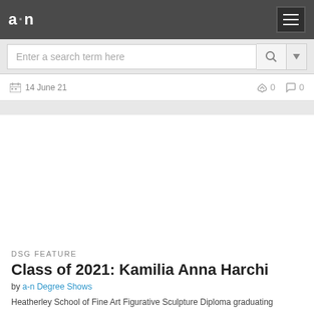a·n
Enter a search term here
14 June 21  👍 0  💬 0
[Figure (photo): White blank image area for article thumbnail]
DSG FEATURE
Class of 2021: Kamilia Anna Harchi
by a-n Degree Shows
Heatherley School of Fine Art Figurative Sculpture Diploma graduating